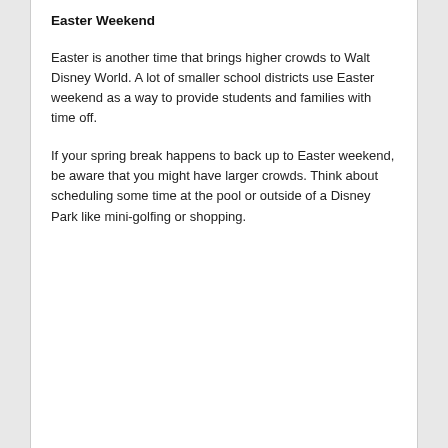Easter Weekend
Easter is another time that brings higher crowds to Walt Disney World.  A lot of smaller school districts use Easter weekend as a way to provide students and families with time off.
If your spring break happens to back up to Easter weekend, be aware that you might have larger crowds.  Think about scheduling some time at the pool or outside of a Disney Park like mini-golfing or shopping.